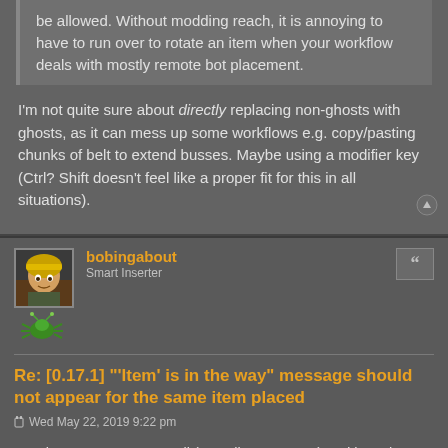be allowed. Without modding reach, it is annoying to have to run over to rotate an item when your workflow deals with mostly remote bot placement.
I'm not quite sure about directly replacing non-ghosts with ghosts, as it can mess up some workflows e.g. copy/pasting chunks of belt to extend busses. Maybe using a modifier key (Ctrl? Shift doesn't feel like a proper fit for this in all situations).
bobingabout
Smart Inserter
Re: [0.17.1] "'Item' is in the way" message should not appear for the same item placed
Wed May 22, 2019 9:22 pm
Place a gate over a wall (or wall over a gate) and it works fine.
Do the same with a ghost, error, cannot place gate, wall is in the way.